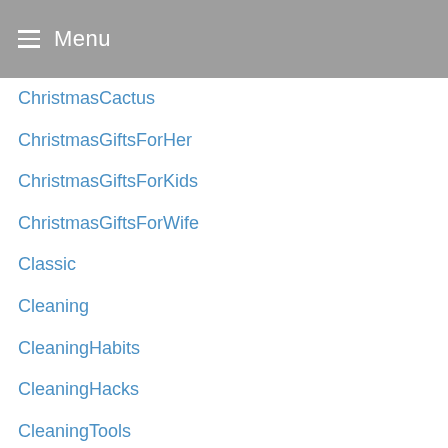Menu
ChristmasCactus
ChristmasGiftsForHer
ChristmasGiftsForKids
ChristmasGiftsForWife
Classic
Cleaning
CleaningHabits
CleaningHacks
CleaningTools
ClimateChange
ClimateDesk
ClimbingRelated
ClosedMondays
closet
ClothDiapering
Clothing
Coa